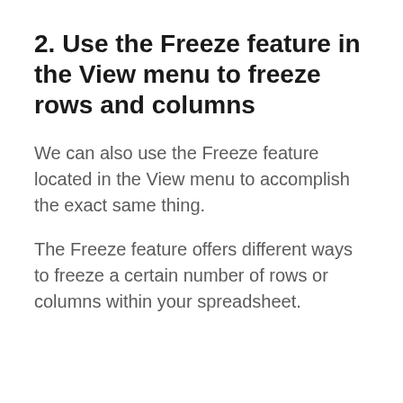2. Use the Freeze feature in the View menu to freeze rows and columns
We can also use the Freeze feature located in the View menu to accomplish the exact same thing.
The Freeze feature offers different ways to freeze a certain number of rows or columns within your spreadsheet.